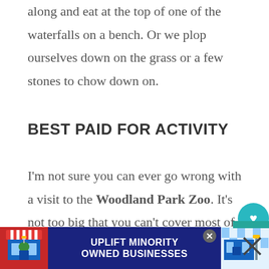along and eat at the top of one of the waterfalls on a bench. Or we plop ourselves down on the grass or a few stones to chow down on.
BEST PAID FOR ACTIVITY
I'm not sure you can ever go wrong with a visit to the Woodland Park Zoo. It's not too big that you can't cover most of it, but it's also not so small that you don't want to go back for a
[Figure (screenshot): Advertisement banner: 'UPLIFT MINORITY OWNED BUSINESSES' on dark blue background with store graphic on left and blue/white checkered pattern on right. Close button visible.]